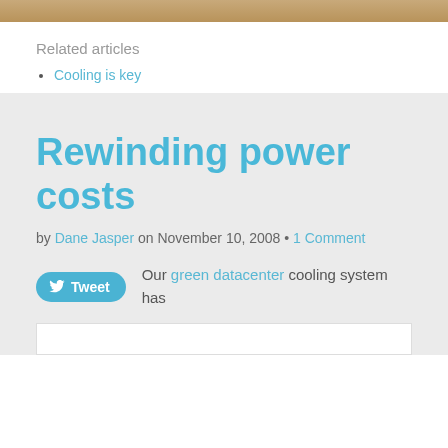[Figure (photo): Partial image strip at the top of the page showing a warm-toned indoor scene]
Related articles
Cooling is key
Rewinding power costs
by Dane Jasper on November 10, 2008 • 1 Comment
Our green datacenter cooling system has